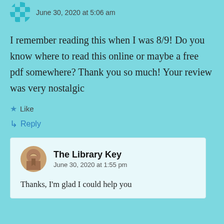June 30, 2020 at 5:06 am
I remember reading this when I was 8/9! Do you know where to read this online or maybe a free pdf somewhere? Thank you so much! Your review was very nostalgic
Like
Reply
The Library Key
June 30, 2020 at 1:55 pm
Thanks, I'm glad I could help you